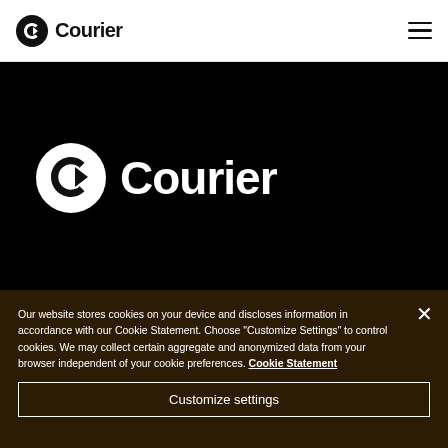Courier (logo with hamburger menu)
[Figure (logo): Courier logo in white on black background — bird icon in circle with 'Courier' wordmark]
Get Courier in your Inbox
Our website stores cookies on your device and discloses information in accordance with our Cookie Statement. Choose "Customize Settings" to control cookies. We may collect certain aggregate and anonymized data from your browser independent of your cookie preferences. Cookie Statement
Customize settings